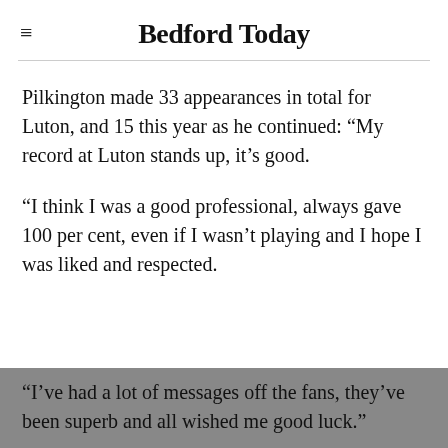Bedford Today
Pilkington made 33 appearances in total for Luton, and 15 this year as he continued: “My record at Luton stands up, it’s good.
“I think I was a good professional, always gave 100 per cent, even if I wasn’t playing and I hope I was liked and respected.
“I’ve had a lot of messages off the fans, they’ve been superb and all wished me good luck.”